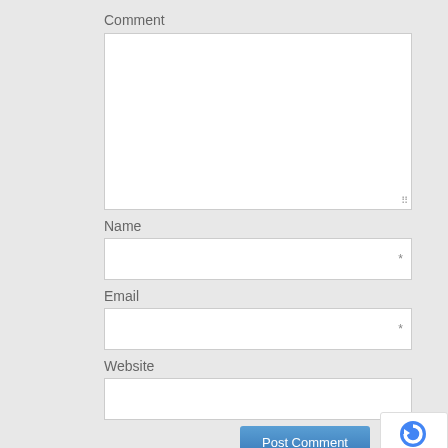Comment
[Figure (screenshot): Comment textarea input field, empty, with resize handle in bottom-right corner]
Name
[Figure (screenshot): Name text input field with asterisk (*) on right side indicating required field]
Email
[Figure (screenshot): Email text input field with asterisk (*) on right side indicating required field]
Website
[Figure (screenshot): Website text input field, empty, no required marker]
[Figure (screenshot): Post Comment submit button (blue) and reCAPTCHA badge showing Privacy and Terms links]